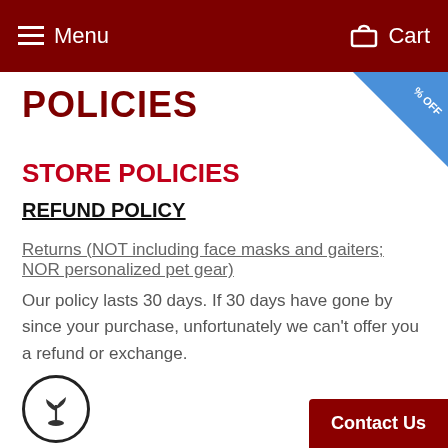Menu   Cart
[Figure (infographic): Blue ribbon corner banner with '% OFF' text in white]
POLICIES
STORE POLICIES
REFUND POLICY
Returns (NOT including face masks and gaiters; NOR personalized pet gear)
Our policy lasts 30 days. If 30 days have gone by since your purchase, unfortunately we can't offer you a refund or exchange.
[Figure (illustration): Circle icon with a plant/seedling symbol inside]
In order to reduce our carbon footprint with shipping, please make sure to appropriate